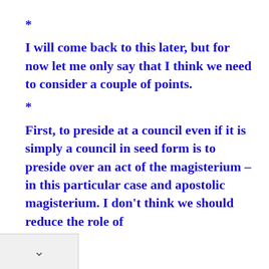*
I will come back to this later, but for now let me only say that I think we need to consider a couple of points.
*
First, to preside at a council even if it is simply a council in seed form is to preside over an act of the magisterium – in this particular case and apostolic magisterium. I don't think we should reduce the role of